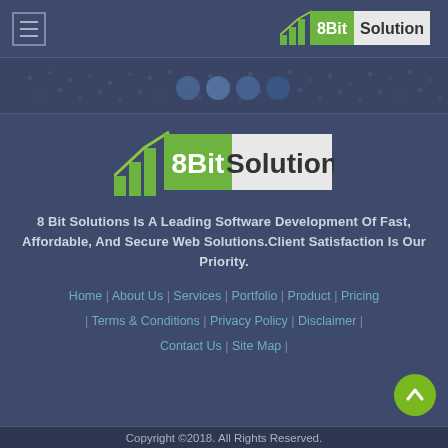8Bit Solution — header navigation bar with hamburger menu and logo
[Figure (screenshot): World map banner background with social media icons]
[Figure (logo): 8Bit Solution logo — large centered]
8 Bit Solutions Is A Leading Software Development Of Fast, Affordable, And Secure Web Solutions.Client Satisfaction Is Our Priority.
Home | About Us | Services | Portfolio | Product | Pricing | Terms & Conditions | Privacy Policy | Disclaimer | Contact Us | Site Map |
Copyright ©2018. All Rights Reserved.